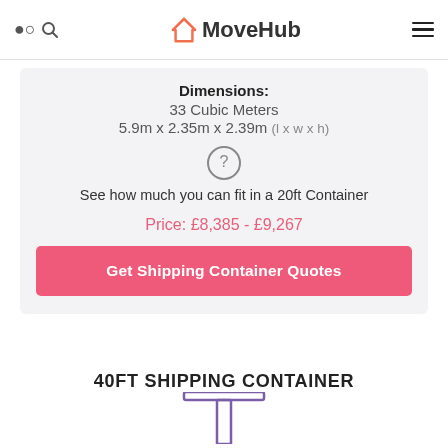MoveHub
Dimensions:
33 Cubic Meters
5.9m x 2.35m x 2.39m (l x w x h)
See how much you can fit in a 20ft Container
Price: £8,385 - £9,267
Get Shipping Container Quotes
40FT SHIPPING CONTAINER
[Figure (illustration): Partial illustration of a 40ft shipping container, showing the top T-shape structure in purple/violet outline]